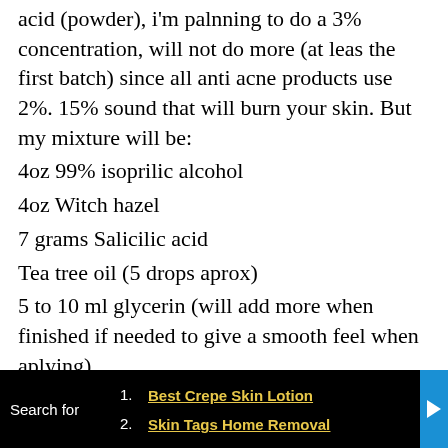acid (powder), i'm palnning to do a 3% concentration, will not do more (at leas the first batch) since all anti acne products use 2%. 15% sound that will burn your skin. But my mixture will be:
4oz 99% isoprilic alcohol
4oz Witch hazel
7 grams Salicilic acid
Tea tree oil (5 drops aprox)
5 to 10 ml glycerin (will add more when finished if needed to give a smooth feel when aplying)
5ml of aloe extract
This will gave me a 50% isopropilic alcohol with 3% salicilic acid concentration, aprox.
Search for  1. Best Crepe Skin Lotion  2. Skin Tags Home Removal